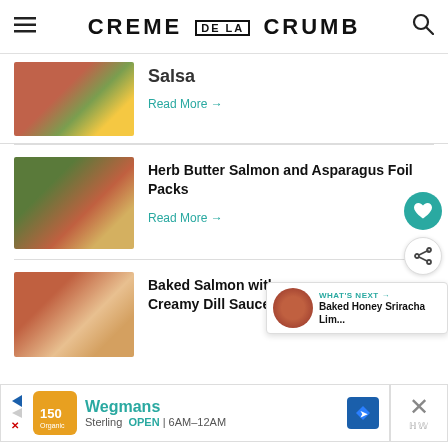CREME DE LA CRUMB
Salsa
Read More →
Herb Butter Salmon and Asparagus Foil Packs
Read More →
Baked Salmon with Creamy Dill Sauce
WHAT'S NEXT → Baked Honey Sriracha Lim...
Wegmans Sterling OPEN 6AM–12AM